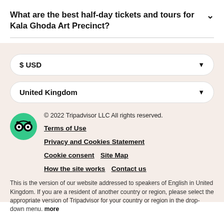What are the best half-day tickets and tours for Kala Ghoda Art Precinct?
$ USD
United Kingdom
© 2022 Tripadvisor LLC All rights reserved.
Terms of Use
Privacy and Cookies Statement
Cookie consent   Site Map
How the site works   Contact us
This is the version of our website addressed to speakers of English in United Kingdom. If you are a resident of another country or region, please select the appropriate version of Tripadvisor for your country or region in the drop-down menu. more